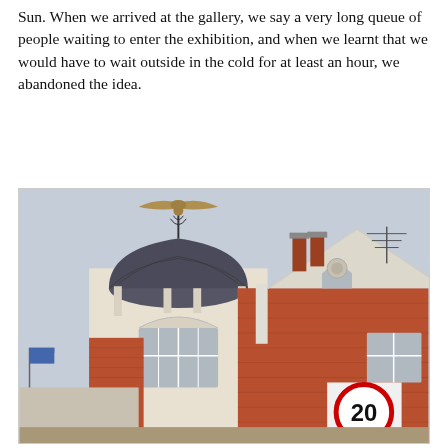Sun. When we arrived at the gallery, we say a very long queue of people waiting to enter the exhibition, and when we learnt that we would have to wait outside in the cold for at least an hour, we abandoned the idea.
[Figure (photo): Photograph of the upper facade and roofline of a Victorian red-brick building. A decorative metal finial with a spread-winged eagle sculpture tops an ornate dome. The brick building has white trim, arched windows, and chimney stacks. A TV antenna is visible. A 20 mph speed limit road sign is in the lower right corner.]